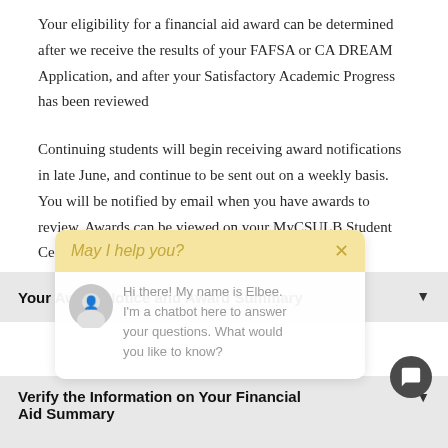Your eligibility for a financial aid award can be determined after we receive the results of your FAFSA or CA DREAM Application, and after your Satisfactory Academic Progress has been reviewed
Continuing students will begin receiving award notifications in late June, and continue to be sent out on a weekly basis. You will be notified by email when you have awards to review. Awards can be viewed on your MyCSULB Student Center.
[Figure (screenshot): Chatbot popup overlay with header 'May I help you?' with an X close button, and body showing avatar with text 'Hi there! My name is Elbee. I'm a chatbot here to answer your questions. What would you like to know?']
Your Award Notice and Award Summary
Verify the Information on Your Financial Aid Summary